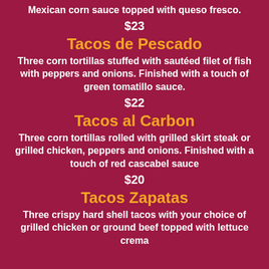Mexican corn sauce topped with queso fresco.
$23
Tacos de Pescado
Three corn tortillas stuffed with sautéed filet of fish with peppers and onions. Finished with a touch of green tomatillo sauce.
$22
Tacos al Carbon
Three corn tortillas rolled with grilled skirt steak or grilled chicken, peppers and onions. Finished with a touch of red cascabel sauce
$20
Tacos Zapatas
Three crispy hard shell tacos with your choice of grilled chicken or ground beef topped with lettuce crema